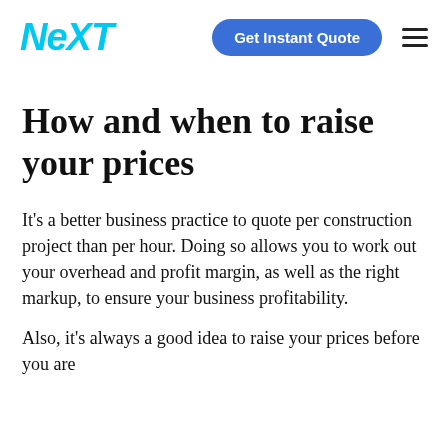NEXT | Get Instant Quote
How and when to raise your prices
It's a better business practice to quote per construction project than per hour. Doing so allows you to work out your overhead and profit margin, as well as the right markup, to ensure your business profitability.
Also, it's always a good idea to raise your prices before you are